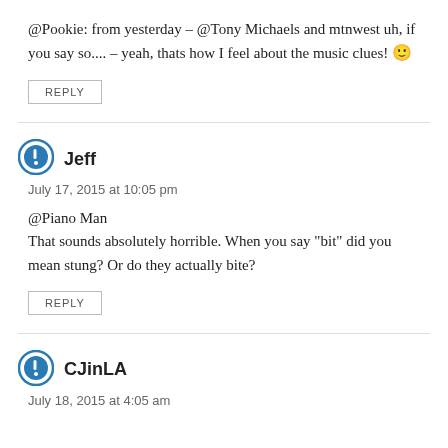@Pookie: from yesterday – @Tony Michaels and mtnwest uh, if you say so.... – yeah, thats how I feel about the music clues! 🙂
REPLY
Jeff
July 17, 2015 at 10:05 pm
@Piano Man
That sounds absolutely horrible. When you say "bit" did you mean stung? Or do they actually bite?
REPLY
CJinLA
July 18, 2015 at 4:05 am